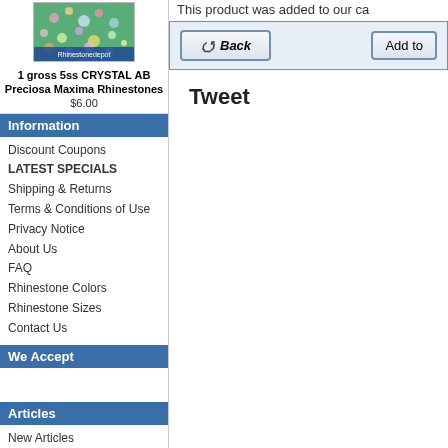[Figure (photo): Product image of rhinestones from Rhinestonedepot]
1 gross 5ss CRYSTAL AB Preciosa Maxima Rhinestones $6.00
Information
Discount Coupons
LATEST SPECIALS
Shipping & Returns
Terms & Conditions of Use
Privacy Notice
About Us
FAQ
Rhinestone Colors
Rhinestone Sizes
Contact Us
We Accept
Articles
New Articles
All Articles (3)
Rhinestones (3)
Articles by Author
Rachel Sirota
This product was added to our ca
[Figure (screenshot): Back button and Add to cart button]
Tweet